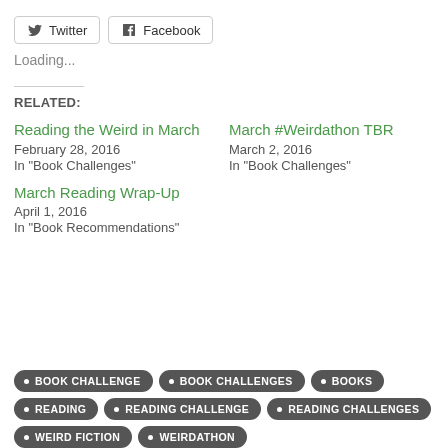[Figure (other): Social share buttons: Twitter and Facebook]
Loading...
RELATED:
Reading the Weird in March
February 28, 2016
In "Book Challenges"
March #Weirdathon TBR
March 2, 2016
In "Book Challenges"
March Reading Wrap-Up
April 1, 2016
In "Book Recommendations"
BOOK CHALLENGE
BOOK CHALLENGES
BOOKS
READING
READING CHALLENGE
READING CHALLENGES
WEIRD FICTION
WEIRDATHON